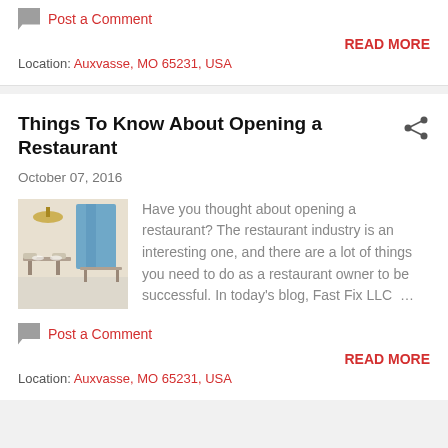Post a Comment
READ MORE
Location: Auxvasse, MO 65231, USA
Things To Know About Opening a Restaurant
October 07, 2016
[Figure (photo): Interior of a modern restaurant with stylish decor]
Have you thought about opening a restaurant? The restaurant industry is an interesting one, and there are a lot of things you need to do as a restaurant owner to be successful. In today's blog, Fast Fix LLC …
Post a Comment
READ MORE
Location: Auxvasse, MO 65231, USA